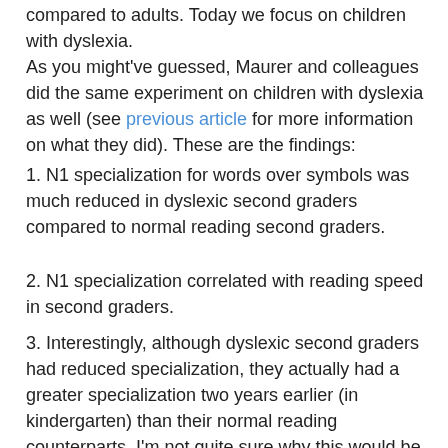compared to adults. Today we focus on children with dyslexia.
As you might've guessed, Maurer and colleagues did the same experiment on children with dyslexia as well (see previous article for more information on what they did). These are the findings:
1. N1 specialization for words over symbols was much reduced in dyslexic second graders compared to normal reading second graders.
2. N1 specialization correlated with reading speed in second graders.
3. Interestingly, although dyslexic second graders had reduced specialization, they actually had a greater specialization two years earlier (in kindergarten) than their normal reading counterparts. I'm not quite sure why this would be.
4. In addition to the N1 difference, there was also a reduced response in the earlier P1 component in children with